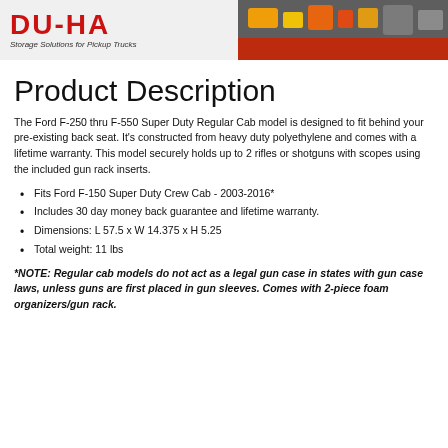[Figure (logo): DU-HA brand banner with red logo text and tagline 'Storage Solutions for Pickup Trucks', with tools/equipment image on the right side]
Product Description
The Ford F-250 thru F-550 Super Duty Regular Cab model is designed to fit behind your pre-existing back seat. It's constructed from heavy duty polyethylene and comes with a lifetime warranty. This model securely holds up to 2 rifles or shotguns with scopes using the included gun rack inserts.
Fits Ford F-150 Super Duty Crew Cab - 2003-2016*
Includes 30 day money back guarantee and lifetime warranty.
Dimensions: L 57.5 x W 14.375 x H 5.25
Total weight: 11 lbs
*NOTE: Regular cab models do not act as a legal gun case in states with gun case laws, unless guns are first placed in gun sleeves. Comes with 2-piece foam organizers/gun rack.